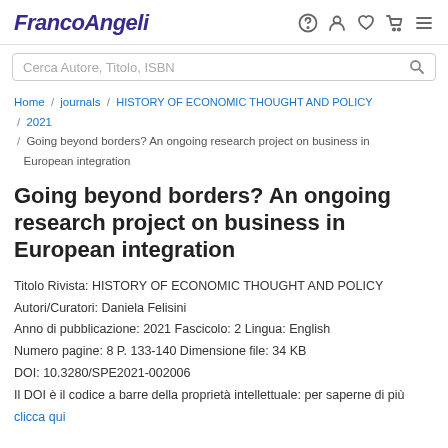FrancoAngeli
Cerca Autore, Titolo, ISBN
Home / journals / HISTORY OF ECONOMIC THOUGHT AND POLICY / 2021 / Going beyond borders? An ongoing research project on business in European integration
Going beyond borders? An ongoing research project on business in European integration
Titolo Rivista: HISTORY OF ECONOMIC THOUGHT AND POLICY
Autori/Curatori: Daniela Felisini
Anno di pubblicazione: 2021 Fascicolo: 2 Lingua: English
Numero pagine: 8 P. 133-140 Dimensione file: 34 KB
DOI: 10.3280/SPE2021-002006
Il DOI è il codice a barre della proprietà intellettuale: per saperne di più
clicca qui